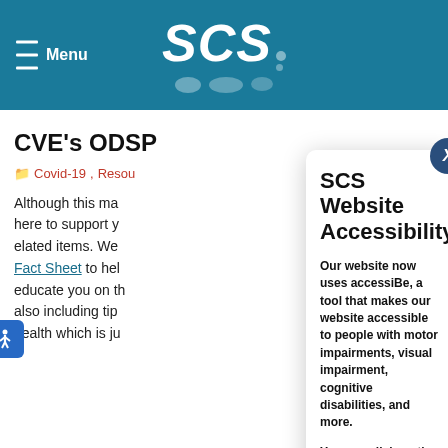Menu | SCS
CVE's ODSP
Covid-19, Resou
Although this ma here to support y elated items. We Fact Sheet to hel educate you on th also including tip health which is ju
The Human
SCS Website Accessibility
Our website now uses accessiBe, a tool that makes our website accessible to people with motor impairments, visual impairment, cognitive disabilities, and more.
You can click on the button in the lower left corner of our website to activate accessiBe:
[Figure (illustration): Blue circle accessibility icon with white person/wheelchair symbol]